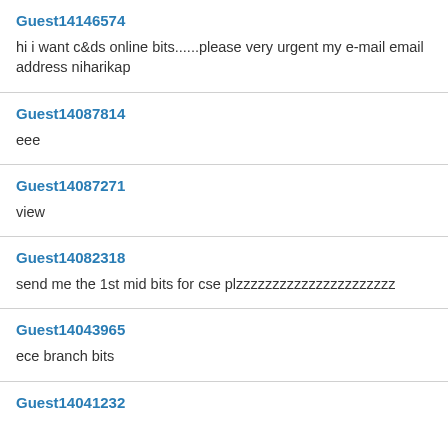Guest14146574
hi i want c&ds online bits......please very urgent my e-mail email address niharikap
Guest14087814
eee
Guest14087271
view
Guest14082318
send me the 1st mid bits for cse plzzzzzzzzzzzzzzzzzzzzzz
Guest14043965
ece branch bits
Guest14041232